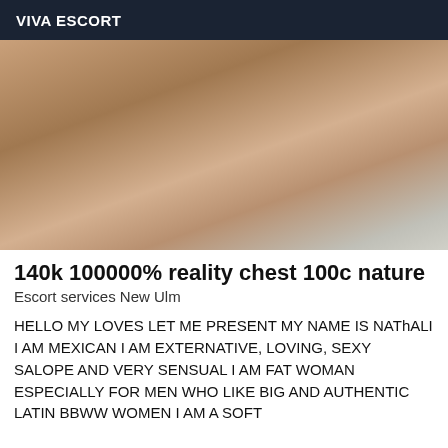VIVA ESCORT
[Figure (photo): Close-up photo, warm skin tones with beige/cream shoe visible, indoor setting]
140k 100000% reality chest 100c nature
Escort services New Ulm
HELLO MY LOVES LET ME PRESENT MY NAME IS NAThALI I AM MEXICAN I AM EXTERNATIVE, LOVING, SEXY SALOPE AND VERY SENSUAL I AM FAT WOMAN ESPECIALLY FOR MEN WHO LIKE BIG AND AUTHENTIC LATIN BBWW WOMEN I AM A SOFT